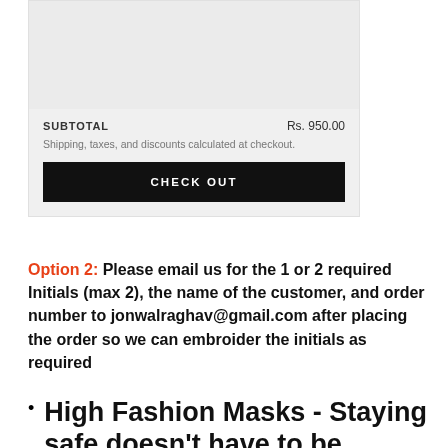[Figure (screenshot): Shopping cart subtotal section with grey background showing SUBTOTAL Rs. 950.00, shipping note, and CHECK OUT button]
Option 2: Please email us for the 1 or 2 required Initials (max 2), the name of the customer, and order number to jonwalraghav@gmail.com after placing the order so we can embroider the initials as required
High Fashion Masks - Staying safe doesn't have to be Boring